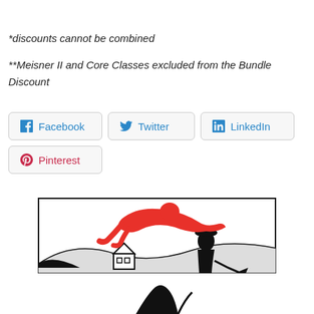*discounts cannot be combined
**Meisner II and Core Classes excluded from the Bundle Discount
[Figure (illustration): Social sharing buttons: Facebook, Twitter, LinkedIn, Pinterest]
[Figure (illustration): Black and white illustration with red figure flying above a landscape with a person and house]